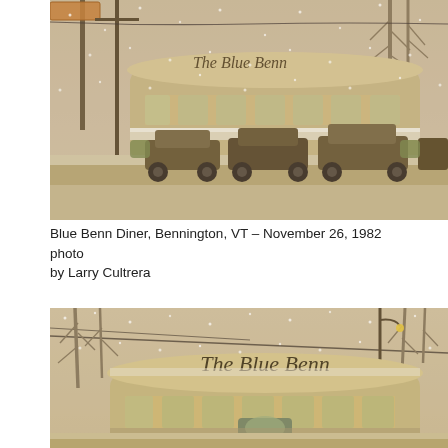[Figure (photo): Sepia-toned photograph of the Blue Benn Diner in Bennington, VT during a snowstorm. The diner is a classic stainless steel railroad car style building with 'The Blue Benn' script sign on top. Several 1970s-era cars are parked in front. Snow is falling heavily.]
Blue Benn Diner, Bennington, VT – November 26, 1982 photo by Larry Cultrera
[Figure (photo): Second sepia-toned photograph of the Blue Benn Diner in Bennington, VT during the same snowstorm, taken from a closer angle showing the 'The Blue Benn' script sign more prominently on top of the diner structure, with cars parked in front and bare winter trees visible.]